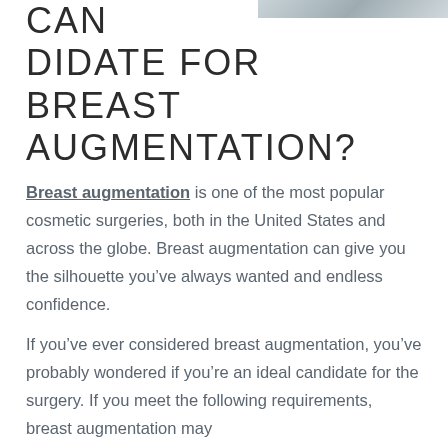[Figure (photo): Partial photo of a person in light clothing, cropped at top right of page]
CAN DIDATE FOR BREAST AUGMENTATION?
Breast augmentation is one of the most popular cosmetic surgeries, both in the United States and across the globe. Breast augmentation can give you the silhouette you’ve always wanted and endless confidence.
If you’ve ever considered breast augmentation, you’ve probably wondered if you’re an ideal candidate for the surgery. If you meet the following requirements, breast augmentation may